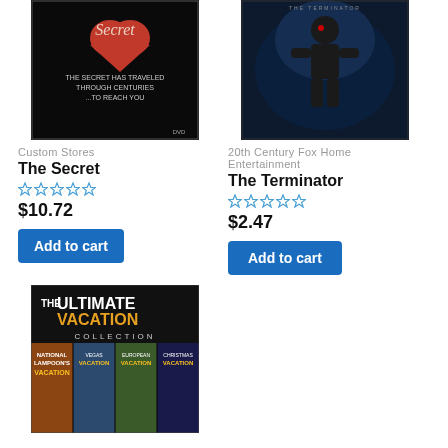[Figure (photo): DVD cover of 'The Secret' - dark background with red heart and text 'THE SECRET HAS TRAVELED THROUGH CENTURIES... TO REACH YOU']
Custom Stores
The Secret
[Figure (other): 5 empty star rating]
$10.72
Add to cart
[Figure (photo): Movie cover of 'The Terminator' - dark blue image of crouching Terminator figure]
20th Century Fox Home Entertainment
The Terminator
[Figure (other): 5 empty star rating]
$2.47
Add to cart
[Figure (photo): DVD cover of 'The Ultimate Vacation Collection' featuring vacation movie posters]